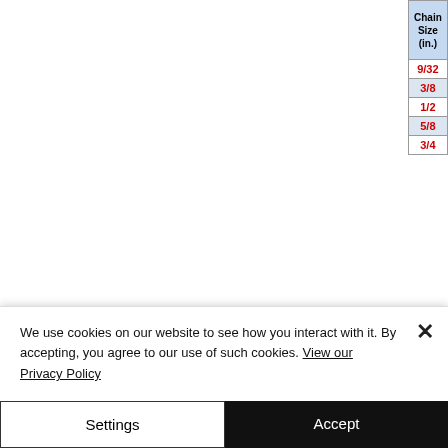| Chain Size (in.) | Rated Cap. @ 60° (lbs.) | Approx. Wt. 5 Foot Reach Type DOS (lbs.) | Oblong Link At Top (in.) A | Oblong Link At Top (in.) B | Oblong Link At Top (in.) C |
| --- | --- | --- | --- | --- | --- |
| 9/32 | 7400 |  |  |  |  |
| 3/8 | 15200 |  |  |  |  |
| 1/2 | 26000 |  |  |  |  |
| 5/8 | 39100 |  |  |  |  |
| 3/4 | 61000 |  |  |  |  |
Triple and
[Figure (illustration): Chain sling diagrams showing DB (double basket) and TOSL (triple/quad sling with hook) configurations, with labels DB, TOSL, TOF, TOG]
We have been ha and bro Please a There is a naviga naviga If you have any que
We use cookies on our website to see how you interact with it. By accepting, you agree to our use of such cookies. View our Privacy Policy